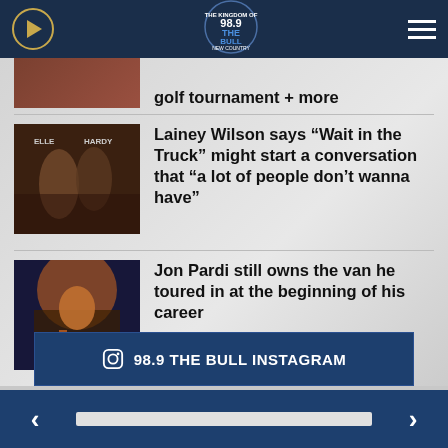[Figure (logo): 98.9 The Bull radio station header with play button, logo, and hamburger menu on dark navy background]
golf tournament + more
[Figure (photo): Lainey Wilson album cover photo showing artists in country style]
Lainey Wilson says “Wait in the Truck” might start a conversation that “a lot of people don’t wanna have”
[Figure (photo): Jon Pardi performing on stage in an orange shirt with guitar under blue stage lights]
Jon Pardi still owns the van he toured in at the beginning of his career
98.9 THE BULL INSTAGRAM